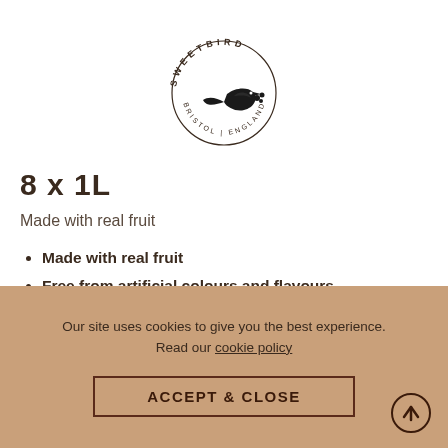[Figure (logo): Sweetbird Bristol England circular logo with bird silhouette]
8 x 1L
Made with real fruit
Made with real fruit
Free from artificial colours and flavours
Fat free
Gluten and dairy-free
Our site uses cookies to give you the best experience. Read our cookie policy
ACCEPT & CLOSE